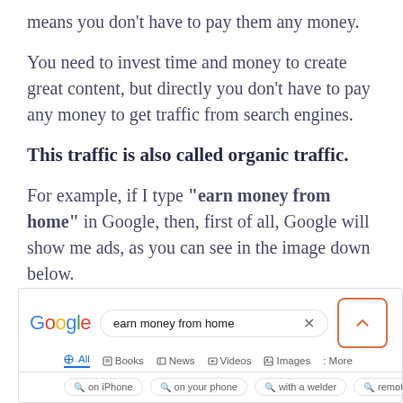means you don't have to pay them any money.
You need to invest time and money to create great content, but directly you don't have to pay any money to get traffic from search engines.
This traffic is also called organic traffic.
For example, if I type "earn money from home" in Google, then, first of all, Google will show me ads, as you can see in the image down below.
[Figure (screenshot): Google search results page showing the search query 'earn money from home' with search tabs (All, Books, News, Videos, Images, More) and suggestion chips (on iPhone, on your phone, with a welder, remotely, Autopilot)]